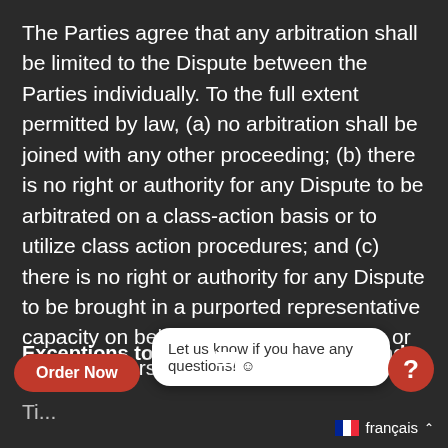The Parties agree that any arbitration shall be limited to the Dispute between the Parties individually. To the full extent permitted by law, (a) no arbitration shall be joined with any other proceeding; (b) there is no right or authority for any Dispute to be arbitrated on a class-action basis or to utilize class action procedures; and (c) there is no right or authority for any Dispute to be brought in a purported representative capacity on behalf of the general public or any other persons.
Exceptions to Informal Negotiations and Arbitration
Ti... [partial, obscured by chat overlay]